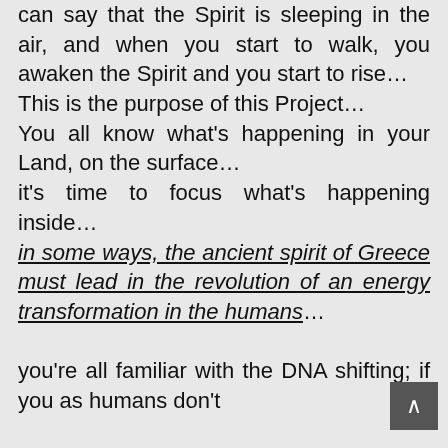can say that the Spirit is sleeping in the air, and when you start to walk, you awaken the Spirit and you start to rise… This is the purpose of this Project… You all know what's happening in your Land, on the surface… it's time to focus what's happening inside… in some ways, the ancient spirit of Greece must lead in the revolution of an energy transformation in the humans… you're all familiar with the DNA shifting; if you as humans don't